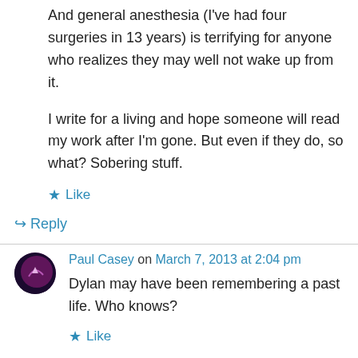And general anesthesia (I've had four surgeries in 13 years) is terrifying for anyone who realizes they may well not wake up from it.
I write for a living and hope someone will read my work after I'm gone. But even if they do, so what? Sobering stuff.
★ Like
↳ Reply
Paul Casey on March 7, 2013 at 2:04 pm
Dylan may have been remembering a past life. Who knows?
★ Like